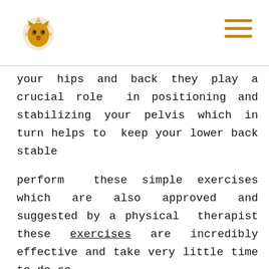[Logo and navigation menu]
your hips and back they play a crucial role in positioning and stabilizing your pelvis which in turn helps to keep your lower back stable
perform these simple exercises which are also approved and suggested by a physical therapist these exercises are incredibly effective and take very little time to do so
Supine Adduction Squeeze